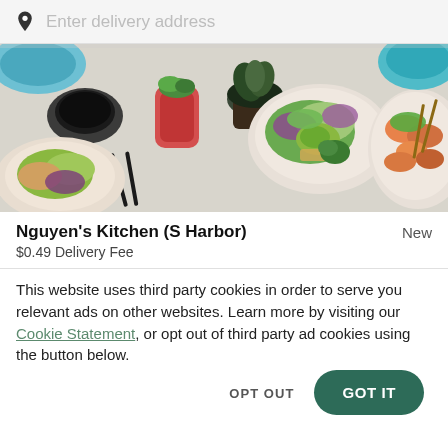Enter delivery address
[Figure (photo): Overhead view of various Asian food dishes including bowls with rice, vegetables, shrimp, herbs, and sauces with chopsticks]
Nguyen's Kitchen (S Harbor)
New
$0.49 Delivery Fee
This website uses third party cookies in order to serve you relevant ads on other websites. Learn more by visiting our Cookie Statement, or opt out of third party ad cookies using the button below.
OPT OUT
GOT IT